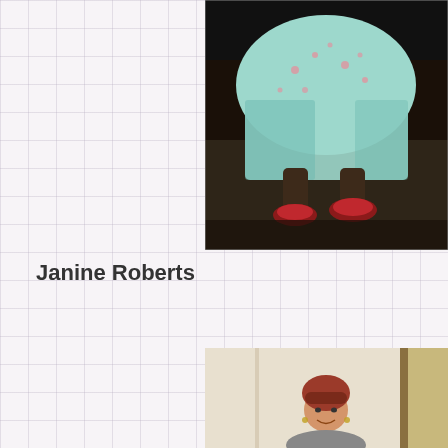[Figure (photo): Photo showing lower body of a person in a light blue floral dress with red shoes, standing on carpet in a dimly lit room]
Janine Roberts
[Figure (photo): Photo of a woman with reddish hair and bangs, smiling, standing in a doorway or hallway with light walls]